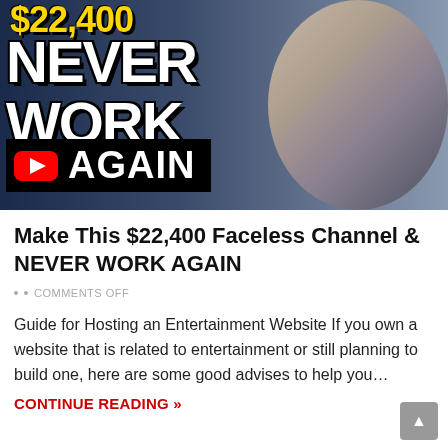[Figure (screenshot): YouTube video thumbnail showing bold white text 'NEVER WORK' on dark background, yellow '$22,400' text at top, YouTube play button icon with 'AGAIN' text in black bar at bottom, and a man's face on the right side]
Make This $22,400 Faceless Channel & NEVER WORK AGAIN
COMMENTS OFF
Guide for Hosting an Entertainment Website If you own a website that is related to entertainment or still planning to build one, here are some good advises to help you...
CONTINUE READING »